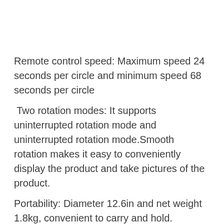Remote control speed: Maximum speed 24 seconds per circle and minimum speed 68 seconds per circle
Two rotation modes: It supports uninterrupted rotation mode and uninterrupted rotation mode.Smooth rotation makes it easy to conveniently display the product and take pictures of the product.
Portability: Diameter 12.6in and net weight 1.8kg, convenient to carry and hold.
Product description